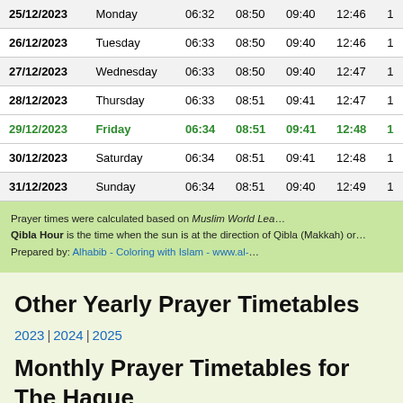| Date | Day | Col3 | Col4 | Col5 | Col6 | Col7 |
| --- | --- | --- | --- | --- | --- | --- |
| 25/12/2023 | Monday | 06:32 | 08:50 | 09:40 | 12:46 | 1 |
| 26/12/2023 | Tuesday | 06:33 | 08:50 | 09:40 | 12:46 | 1 |
| 27/12/2023 | Wednesday | 06:33 | 08:50 | 09:40 | 12:47 | 1 |
| 28/12/2023 | Thursday | 06:33 | 08:51 | 09:41 | 12:47 | 1 |
| 29/12/2023 | Friday | 06:34 | 08:51 | 09:41 | 12:48 | 1 |
| 30/12/2023 | Saturday | 06:34 | 08:51 | 09:41 | 12:48 | 1 |
| 31/12/2023 | Sunday | 06:34 | 08:51 | 09:40 | 12:49 | 1 |
Prayer times were calculated based on Muslim World Lea... Qibla Hour is the time when the sun is at the direction of Qibla (Makkah) or... Prepared by: Alhabib - Coloring with Islam - www.al-...
Other Yearly Prayer Timetables
2023 | 2024 | 2025
Monthly Prayer Timetables for The Hague Year 2023 AD